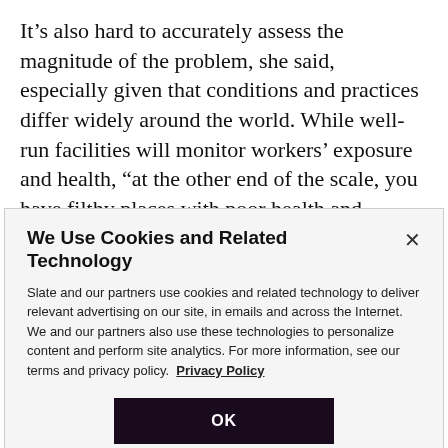It’s also hard to accurately assess the magnitude of the problem, she said, especially given that conditions and practices differ widely around the world. While well-run facilities will monitor workers’ exposure and health, “at the other end of the scale, you have filthy places with poor health and safety,” she said, where recordkeeping is patchy and people who develop allergies may simply feel compelled to seek work elsewhere. “So, it may look like
We Use Cookies and Related Technology
Slate and our partners use cookies and related technology to deliver relevant advertising on our site, in emails and across the Internet. We and our partners also use these technologies to personalize content and perform site analytics. For more information, see our terms and privacy policy. Privacy Policy